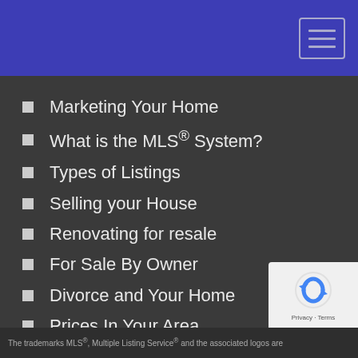Marketing Your Home
What is the MLS® System?
Types of Listings
Selling your House
Renovating for resale
For Sale By Owner
Divorce and Your Home
Prices In Your Area
Avoid These Mistakes
What's Your Home Worth?
[Figure (logo): reCAPTCHA badge with Privacy and Terms links]
The trademarks MLS®, Multiple Listing Service® and the associated logos are